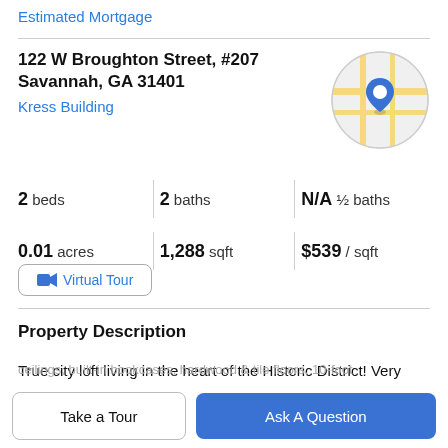Estimated Mortgage
122 W Broughton Street, #207
Savannah, GA 31401
Kress Building
[Figure (map): Circular map thumbnail showing street map with blue location pin marker]
2 beds | 2 baths | N/A ½ baths
0.01 acres | 1,288 sqft | $539 / sqft
Virtual Tour
Property Description
True city loft living in the heart of the Historic District! Very Secure Building on the corner of Broughton & Barnard
ceilings, built-in bookcases, hardwood & tile floors, 10-foot